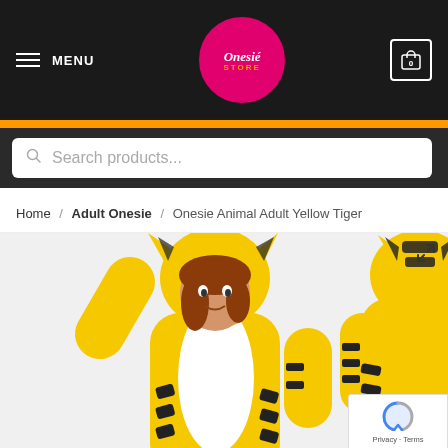MENU | Onesie Store Logo | Cart: 0
Search products...
Home / Adult Onesie / Onesie Animal Adult Yellow Tiger
[Figure (photo): Two people wearing yellow tiger onesie animal costumes — front view showing woman with curly hair and white chest panel with black stripes, and back view showing black stripe pattern on hood and arms. Expand/zoom icon in top right corner.]